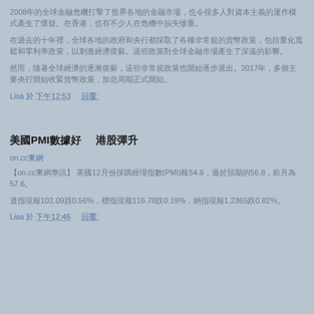2008年的全球金融危機打擊了世界各地的金融市場，也令很多人對資本主義的運作模式產生了懷疑。在香港，也有不少人在危機中損失慘重。
在過去的十年裡，全球各地的政府和央行都採取了各種非常規的貨幣政策，包括量化寬鬆和零利率政策，以刺激經濟復蘇。這些政策對全球金融市場產生了深遠的影響。
然而，隨著全球經濟的逐漸復蘇，這些非常規政策也開始逐步退出。2017年，多個主要央行開始收緊貨幣政策，加息周期正式開始。
Lisa 於 下午12:53      回覆:
美國PMI數據好　港股彈升
on.cc東網
【on.cc東網專訊】 美國12月份採購經理指數(PMI)報54.6，遜於預期的56.8，前月為57.6。
道指現報102.09跌0.56%，標指現報116.78跌0.19%，納指現報1.2365跌0.82%。
Lisa 於 下午12:46      回覆: